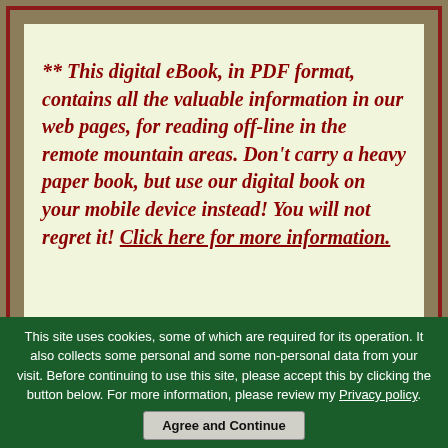** This digital eBook, in PDF format, contains all the valuable information in our web pages, for reading off-line in the remote mountain areas. Don't carry a heavy paper book, but use our digital book on your mobile device instead! You will not regret it! Click here for more information.
[Figure (illustration): Book cover image showing sky background with text 'El Camino de']
This site uses cookies, some of which are required for its operation. It also collects some personal and some non-personal data from your visit. Before continuing to use this site, please accept this by clicking the button below. For more information, please review my Privacy policy.
Agree and Continue